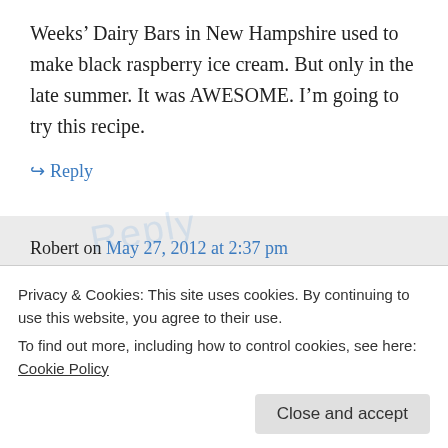Weeks’ Dairy Bars in New Hampshire used to make black raspberry ice cream. But only in the late summer. It was AWESOME. I’m going to try this recipe.
↔ Reply
Robert on May 27, 2012 at 2:37 pm
Marty,
Privacy & Cookies: This site uses cookies. By continuing to use this website, you agree to their use.
To find out more, including how to control cookies, see here: Cookie Policy